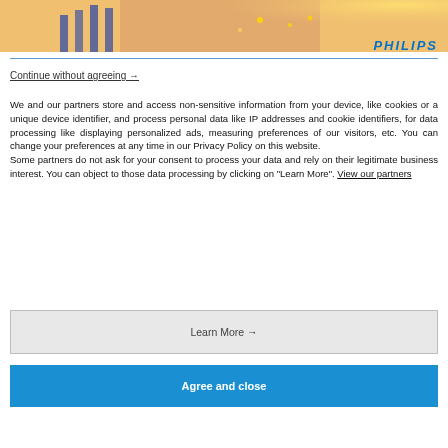[Figure (photo): Partial photo of a person wearing jewelry/accessories, cropped at top]
PHILIPS
Continue without agreeing →
We and our partners store and access non-sensitive information from your device, like cookies or a unique device identifier, and process personal data like IP addresses and cookie identifiers, for data processing like displaying personalized ads, measuring preferences of our visitors, etc. You can change your preferences at any time in our Privacy Policy on this website.
Some partners do not ask for your consent to process your data and rely on their legitimate business interest. You can object to those data processing by clicking on "Learn More". View our partners
Learn More →
Agree and close